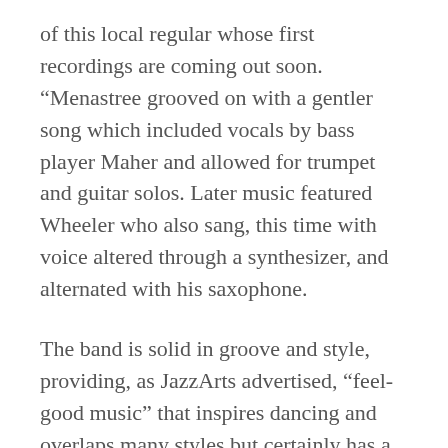of this local regular whose first recordings are coming out soon. “Menastree grooved on with a gentler song which included vocals by bass player Maher and allowed for trumpet and guitar solos. Later music featured Wheeler who also sang, this time with voice altered through a synthesizer, and alternated with his saxophone.
The band is solid in groove and style, providing, as JazzArts advertised, “feel-good music” that inspires dancing and overlaps many styles but certainly has a jazz and funk foundation.”
Visit CVNC’s website for the full review. Search for JazzArts Charlotte on their website for other show review.